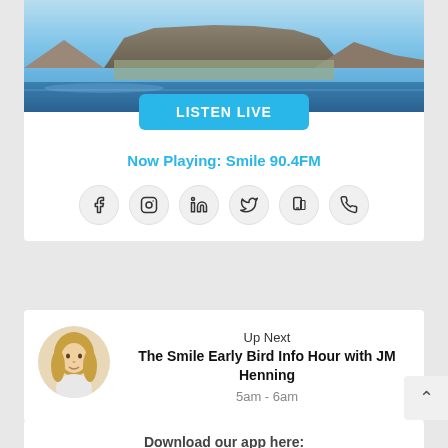[Figure (photo): Aerial photograph of Cape Town with Table Mountain in the background, harbour and city visible, blue sky and ocean]
LISTEN LIVE
Now Playing: Smile 90.4FM
[Figure (infographic): Row of social media icons in grey circles: Facebook, Instagram, LinkedIn, Twitter, a mobile/tablet icon, and a phone icon]
Up Next
The Smile Early Bird Info Hour with JM Henning
5am - 6am
Download our app here:
[Figure (screenshot): Download on the App Store button (black)]
[Figure (screenshot): GET IT ON Google Play button (black)]